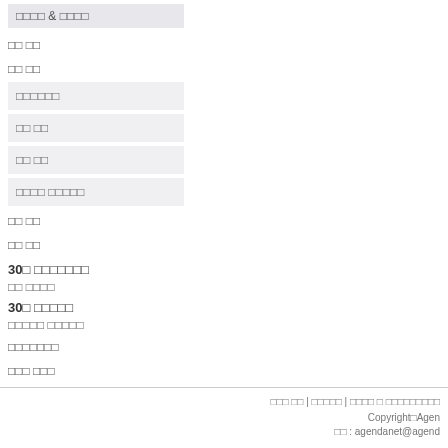□□□□ & □□□□
□□ □□
□□ □□
□□□□□□
□□ □□
□□ □□
□□□□ □□□□□
□□ □□
□□ □□
30□ □□□□□□□
□□ □□□□
30□ □□□□□
□□□□□ □□□□□
□□□□□□□
□□□ □□□
□□□□□□
□□□ □□ | □□□□□ | □□□□ □ □□□□□□□□□  Copyright□Agen  □□ : agendanet@agend